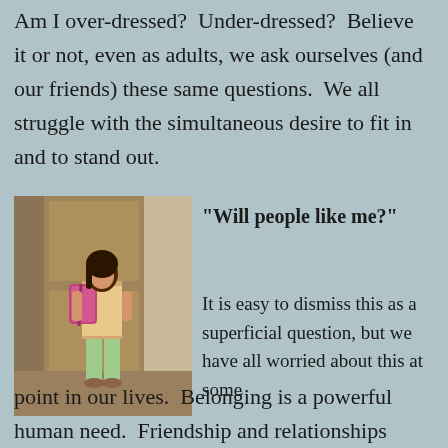Am I over-dressed? Under-dressed? Believe it or not, even as adults, we ask ourselves (and our friends) these same questions. We all struggle with the simultaneous desire to fit in and to stand out.
[Figure (photo): A young girl standing with a pink backpack, wearing light green capri pants and sandals, photographed from behind/side.]
“Will people like me?”
It is easy to dismiss this as a superficial question, but we have all worried about this at some point in our lives. Belonging is a powerful human need. Friendship and relationships